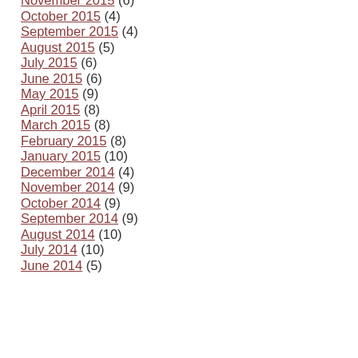November 2015 (6)
October 2015 (4)
September 2015 (4)
August 2015 (5)
July 2015 (6)
June 2015 (6)
May 2015 (9)
April 2015 (8)
March 2015 (8)
February 2015 (8)
January 2015 (10)
December 2014 (4)
November 2014 (9)
October 2014 (9)
September 2014 (9)
August 2014 (10)
July 2014 (10)
June 2014 (5)